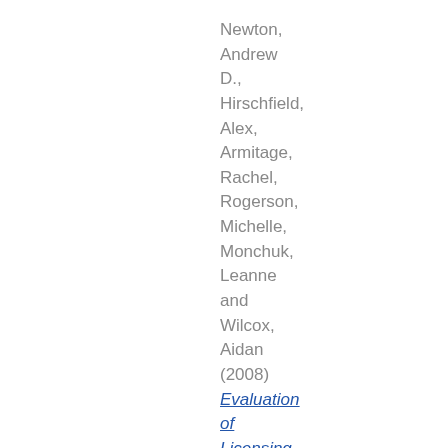Newton, Andrew D., Hirschfield, Alex, Armitage, Rachel, Rogerson, Michelle, Monchuk, Leanne and Wilcox, Aidan (2008)
Evaluation of Licensing Act: Measuring